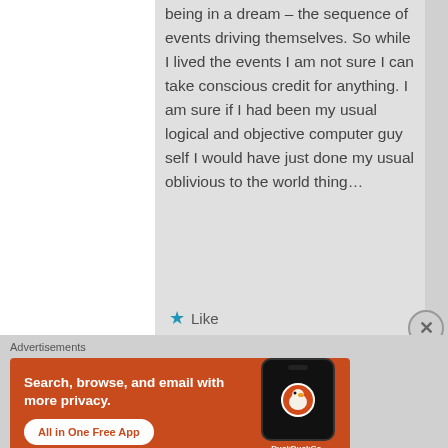being in a dream – the sequence of events driving themselves. So while I lived the events I am not sure I can take conscious credit for anything. I am sure if I had been my usual logical and objective computer guy self I would have just done my usual oblivious to the world thing…
★ Like
Advertisements
[Figure (screenshot): DuckDuckGo advertisement banner with orange background. Text reads 'Search, browse, and email with more privacy. All in One Free App' with DuckDuckGo logo and phone graphic on right.]